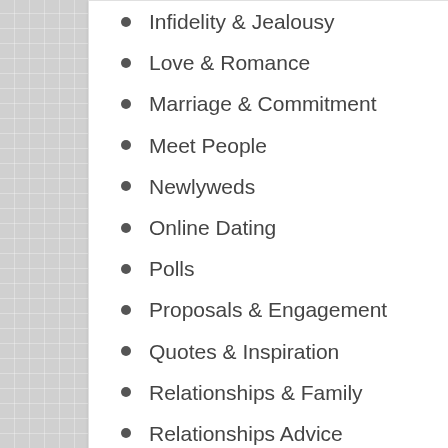Infidelity & Jealousy
Love & Romance
Marriage & Commitment
Meet People
Newlyweds
Online Dating
Polls
Proposals & Engagement
Quotes & Inspiration
Relationships & Family
Relationships Advice
Relationships Problems
Singles
Women & Sexuality
QUOTES
Quotes & Inspiration
January 29, 2014